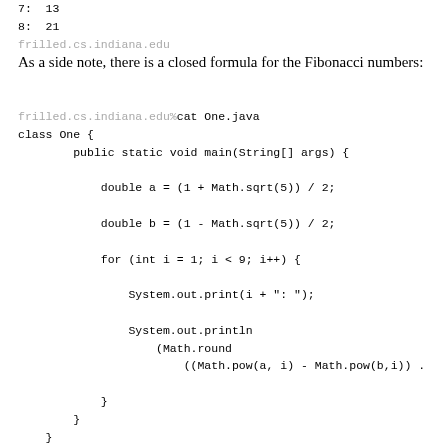7:  13
8:  21
frilled.cs.indiana.edu
As a side note, there is a closed formula for the Fibonacci numbers:
frilled.cs.indiana.edu%cat One.java
class One {
    public static void main(String[] args) {

        double a = (1 + Math.sqrt(5)) / 2;

        double b = (1 - Math.sqrt(5)) / 2;

        for (int i = 1; i < 9; i++) {

            System.out.print(i + ": ");

            System.out.println
                (Math.round
                    ((Math.pow(a, i) - Math.pow(b,i)) .

        }
    }
}
frilled.cs.indiana.edu%java One
1: 1
2: 1
3: 2